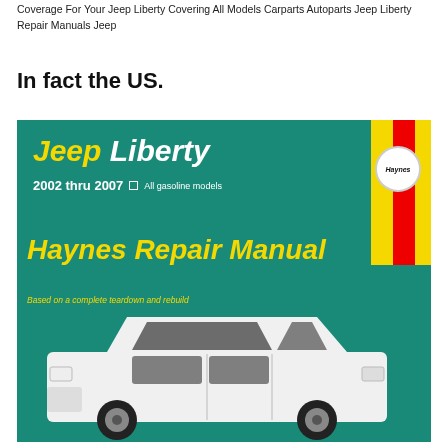Coverage For Your Jeep Liberty Covering All Models Carparts Autoparts Jeep Liberty Repair Manuals Jeep
In fact the US.
[Figure (photo): Cover of Haynes Repair Manual for Jeep Liberty 2002 thru 2007, All gasoline models. Teal/green background with yellow Haynes logo stripe in top right corner. Title reads 'Jeep Liberty' in yellow and white italic text, '2002 thru 2007 All gasoline models', 'Haynes Repair Manual', 'Based on a complete teardown and rebuild'. Shows a white Jeep Liberty vehicle in the lower portion.]